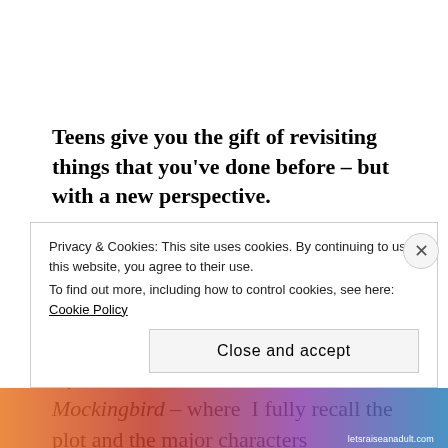Teens give you the gift of revisiting things that you've done before – but with a new perspective. Here's just one example: If I didn't live with a teen, I may never have gone back and re-read books that I read in high school.  Classics – books like The Giver, Of Mice and Men, and To Kill A Mockingbird – where  I fully recall the plot and the major characters
Privacy & Cookies: This site uses cookies. By continuing to use this website, you agree to their use. To find out more, including how to control cookies, see here: Cookie Policy
Close and accept